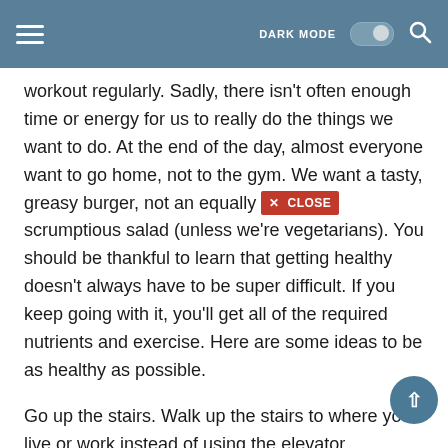DARK MODE  [toggle]  [search]
workout regularly. Sadly, there isn't often enough time or energy for us to really do the things we want to do. At the end of the day, almost everyone want to go home, not to the gym. We want a tasty, greasy burger, not an equally scrumptious salad (unless we're vegetarians). You should be thankful to learn that getting healthy doesn't always have to be super difficult. If you keep going with it, you'll get all of the required nutrients and exercise. Here are some ideas to be as healthy as possible.
Go up the stairs. Walk up the stairs to where you live or work instead of using the elevator. Obviously this isn't as plausible if you work on the 25th floor of a high rise, but if you work on the fourth, climbing the stairs is a fantastic way to get some exercise in. Even if you do or work on one of the higher floors, you can still get out